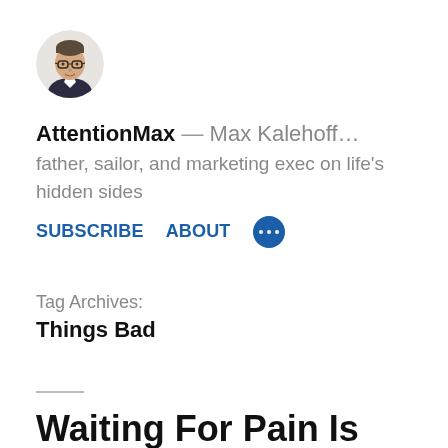[Figure (photo): Circular avatar photo of a man wearing glasses and a dark jacket, on a white background]
AttentionMax — Max Kalehoff… father, sailor, and marketing exec on life's hidden sides
SUBSCRIBE   ABOUT   •••
Tag Archives:
Things Bad
Waiting For Pain Is